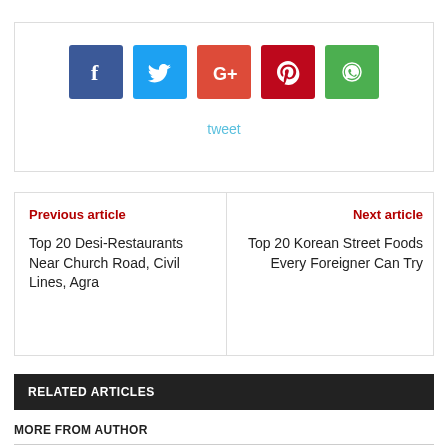[Figure (other): Social share buttons: Facebook (blue), Twitter (light blue), Google+ (red-orange), Pinterest (dark red), WhatsApp (green), with a 'tweet' link below]
tweet
Previous article
Top 20 Desi-Restaurants Near Church Road, Civil Lines, Agra
Next article
Top 20 Korean Street Foods Every Foreigner Can Try
RELATED ARTICLES
MORE FROM AUTHOR